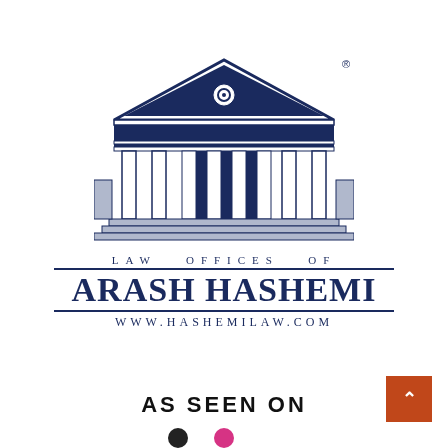[Figure (logo): Law Offices of Arash Hashemi logo featuring a classical Greek temple/courthouse illustration in navy blue, with columns and pediment. Below: 'LAW OFFICES OF' in spaced serif text, double lines, 'ARASH HASHEMI' in large bold serif, double lines, and 'WWW.HASHEMILAW.COM' in spaced serif text. Registered trademark symbol visible top right of temple. Orange scroll-up button bottom right.]
AS SEEN ON